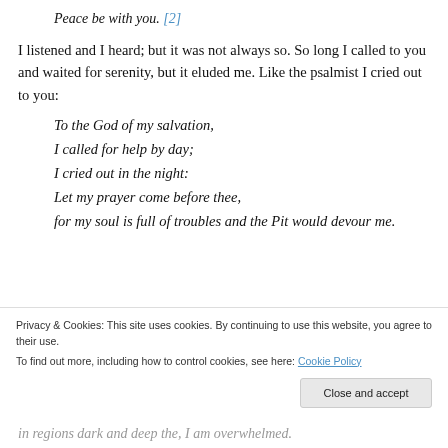Peace be with you. [2]
I listened and I heard; but it was not always so. So long I called to you and waited for serenity, but it eluded me. Like the psalmist I cried out to you:
To the God of my salvation,
I called for help by day;
I cried out in the night:
Let my prayer come before thee,
for my soul is full of troubles and the Pit would devour me.
Privacy & Cookies: This site uses cookies. By continuing to use this website, you agree to their use.
To find out more, including how to control cookies, see here: Cookie Policy
in regions dark and deep the, I am overwhelmed.